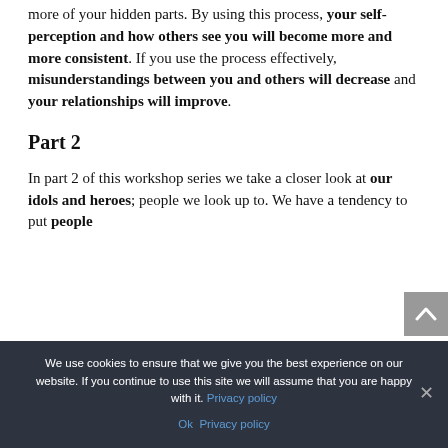more of your hidden parts. By using this process, your self-perception and how others see you will become more and more consistent. If you use the process effectively, misunderstandings between you and others will decrease and your relationships will improve.
Part 2
In part 2 of this workshop series we take a closer look at our idols and heroes; people we look up to. We have a tendency to put people
We use cookies to ensure that we give you the best experience on our website. If you continue to use this site we will assume that you are happy with it. Privacy policy  Ok  Privacy policy